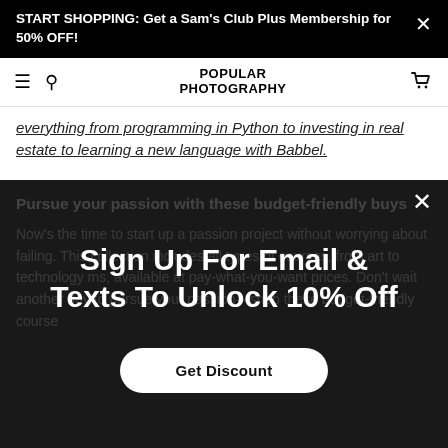START SHOPPING: Get a Sam's Club Plus Membership for 50% OFF!
[Figure (screenshot): Popular Photography website navigation bar with hamburger menu, search icon, POPULAR PHOTOGRAPHY logo, and cart icon]
everything from programming in Python to investing in real estate to learning a new language with Babbel.
Pursue your passion with these budget-friendly buys
Now's the time to start up a passion project without worrying about failing. This collection includes all types of courses, from art to technology ms, available at pay-what-you-want prices. Don't wait another day to pursue your passion—shop these budget-friendly course
[Figure (screenshot): Email and text sign-up modal overlay with title 'Sign Up For Email & Texts To Unlock 10% Off' and a 'Get Discount' button]